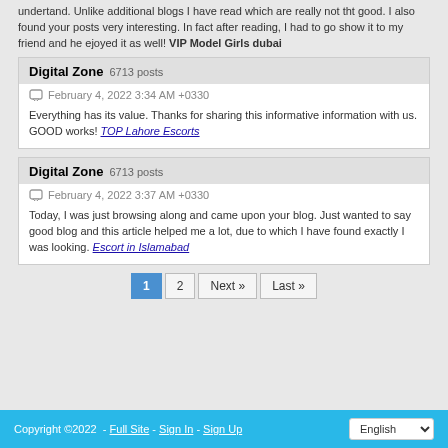undertand. Unlike additional blogs I have read which are really not tht good. I also found your posts very interesting. In fact after reading, I had to go show it to my friend and he ejoyed it as well! VIP Model Girls dubai
Digital Zone  6713 posts
February 4, 2022 3:34 AM +0330
Everything has its value. Thanks for sharing this informative information with us. GOOD works! TOP Lahore Escorts
Digital Zone  6713 posts
February 4, 2022 3:37 AM +0330
Today, I was just browsing along and came upon your blog. Just wanted to say good blog and this article helped me a lot, due to which I have found exactly I was looking. Escort in Islamabad
1  2  Next »  Last »
Copyright ©2022  -  Full Site  -  Sign In  -  Sign Up  English